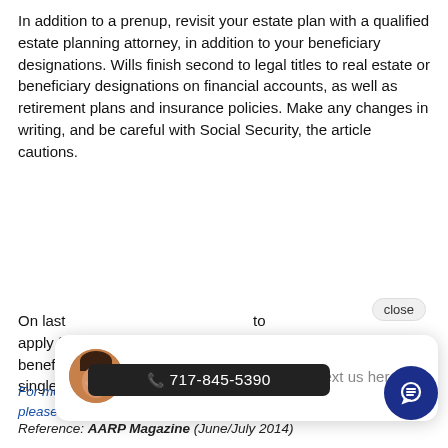In addition to a prenup, revisit your estate plan with a qualified estate planning attorney, in addition to your beneficiary designations. Wills finish second to legal titles to real estate or beneficiary designations on financial accounts, as well as retirement plans and insurance policies. Make any changes in writing, and be careful with Social Security, the article cautions.
On last [obscured by chat popup] to apply f[obscured] benefit[obscured] single a[obscured]
[Figure (screenshot): Chat popup widget showing a representative avatar and the message 'Hi there, have a question? Text us here.' with a close button.]
For more information about estate plan[ning], please [visit our] ng website[.]
[Figure (infographic): Dark phone bar showing phone number 717-845-5390 and a blue chat icon circle.]
Reference: AARP Magazine (June/July 2014)